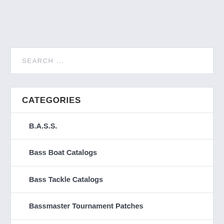SEARCH ...
CATEGORIES
B.A.S.S.
Bass Boat Catalogs
Bass Tackle Catalogs
Bassmaster Tournament Patches
Book Reviews